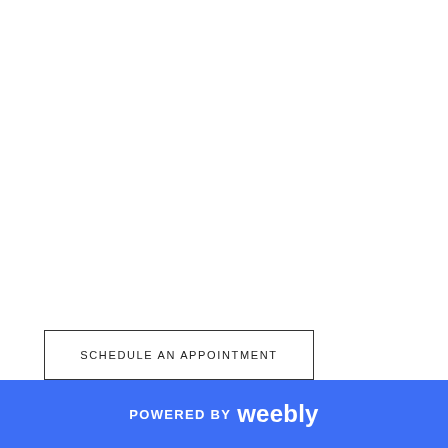SCHEDULE AN APPOINTMENT
POWERED BY weebly